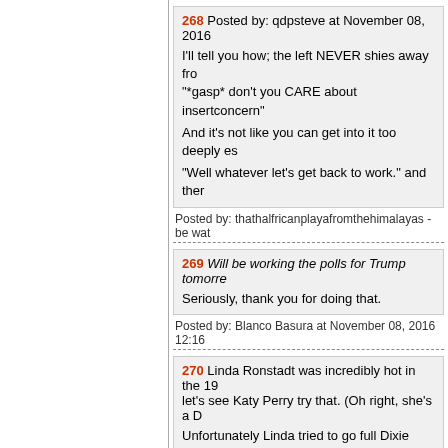268 Posted by: qdpsteve at November 08, 2016
I'll tell you how; the left NEVER shies away from "*gasp* don't you CARE about insertconcern"
And it's not like you can get into it too deeply es
"Well whatever let's get back to work." and ther
Posted by: thathalfricanplayafromthehimalayas - be wat
269 Will be working the polls for Trump tomorrow
Seriously, thank you for doing that.
Posted by: Blanco Basura at November 08, 2016 12:16
270 Linda Ronstadt was incredibly hot in the 19 let's see Katy Perry try that. (Oh right, she's a D
Unfortunately Linda tried to go full Dixie Chick ridonkulously hateful BS about Repubs and W. Breitbart and others, and she finally shut up and
Posted by: qdpsteve at November 08, 2016 12:16 AM (